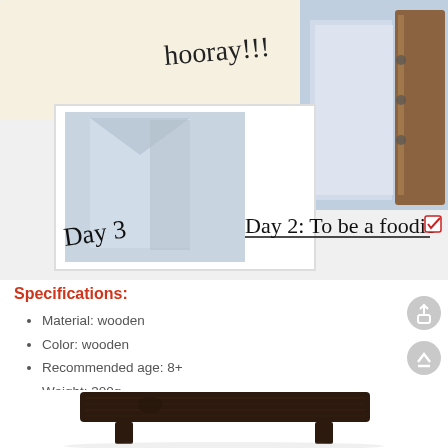[Figure (photo): Collage of product lifestyle photos: top shows a sticky note with handwritten 'hooray!!!' text and blue envelope/packaging; middle-left shows a close-up of blue paper/envelope labeled 'Day 3'; right side shows a binder/organizer with brown wooden elements on a light blue background; text overlay reads 'Day 2: To be a foodie' with a red checkbox; an arrow points left from the main photo to the Day 3 close-up.]
Specifications:
Material: wooden
Color: wooden
Recommended age: 8+
Weight: 300g
[Figure (photo): Bottom portion of a dark wooden tray/stand with visible wood grain, dark brown/black color, sitting on a white background.]